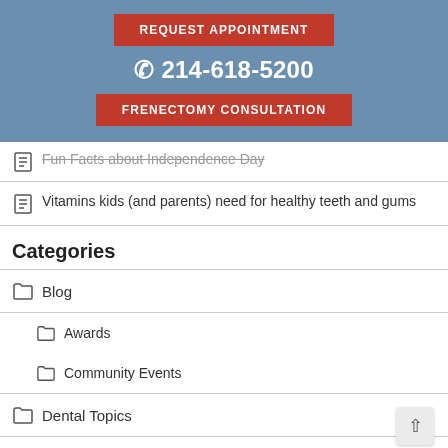[Figure (screenshot): REQUEST APPOINTMENT red button]
☎ 214-618-5200
[Figure (screenshot): FRENECTOMY CONSULTATION red button]
Fun Facts about Independence Day
Vitamins kids (and parents) need for healthy teeth and gums
Categories
Blog
Awards
Community Events
Dental Topics